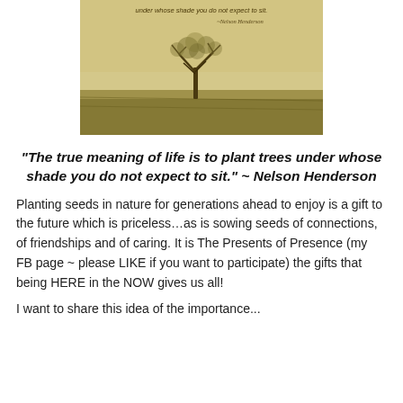[Figure (photo): Sepia-toned photograph of a lone tree in a field with text overlay: 'under whose shade you do not expect to sit.' and attribution '~Nelson Henderson']
“The true meaning of life is to plant trees under whose shade you do not expect to sit.” ~ Nelson Henderson
Planting seeds in nature for generations ahead to enjoy is a gift to the future which is priceless…as is sowing seeds of connections, of friendships and of caring.  It is The Presents of Presence (my FB page ~ please LIKE if you want to participate) the gifts that being HERE in the NOW gives us all!
I want to share this idea of the importance...